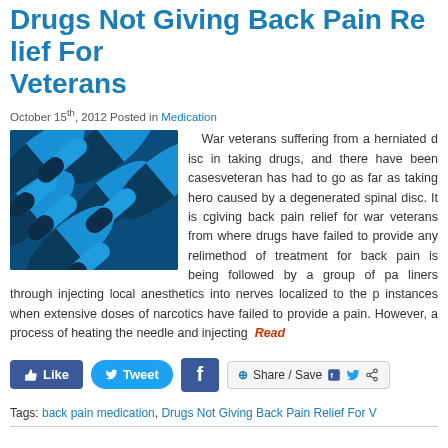Drugs Not Giving Back Pain Relief For Veterans
October 15th, 2012 Posted in Medication
[Figure (photo): Close-up photo of blue and dark blue capsule pills]
War veterans suffering from a herniated disc have been resorting in taking drugs, and there have been cases where a veteran has had to go as far as taking heroin to relieve the pain caused by a degenerated spinal disc. It is clear that drugs are not giving back pain relief for war veterans from all the instances where drugs have failed to provide any relief. A new method of treatment for back pain is being followed by a group of pain liners through injecting local anesthetics into nerves localized to the pain. In instances when extensive doses of narcotics have failed to provide any relief for pain. However, a process of heating the needle and injecting   Read
Tags: back pain medication, Drugs Not Giving Back Pain Relief For V...